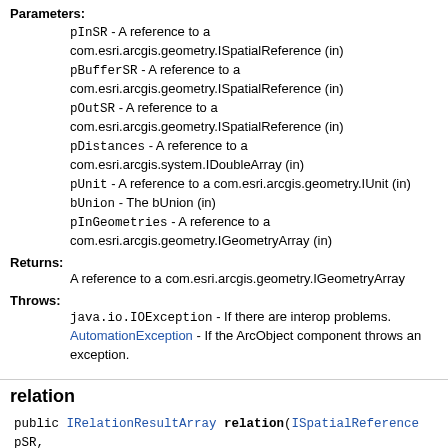Parameters:
pInSR - A reference to a com.esri.arcgis.geometry.ISpatialReference (in)
pBufferSR - A reference to a com.esri.arcgis.geometry.ISpatialReference (in)
pOutSR - A reference to a com.esri.arcgis.geometry.ISpatialReference (in)
pDistances - A reference to a com.esri.arcgis.system.IDoubleArray (in)
pUnit - A reference to a com.esri.arcgis.geometry.IUnit (in)
bUnion - The bUnion (in)
pInGeometries - A reference to a com.esri.arcgis.geometry.IGeometryArray (in)
Returns:
A reference to a com.esri.arcgis.geometry.IGeometryArray
Throws:
java.io.IOException - If there are interop problems. AutomationException - If the ArcObject component throws an exception.
relation
public IRelationResultArray relation(ISpatialReference pSR, IGeometryArray pInGA1, IGeometryArray pInGA2, int r, java.lang.String p throws java.io.IOException, AutomationException